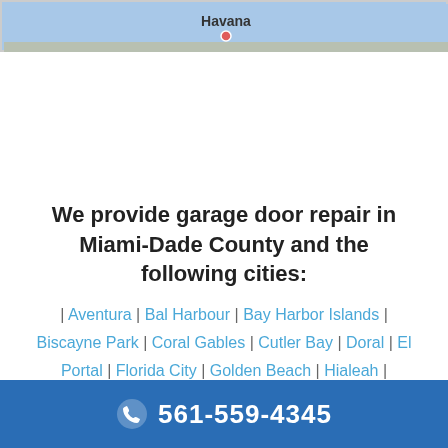[Figure (map): Partial map screenshot showing 'Havana' label on a light blue map background]
We provide garage door repair in Miami-Dade County and the following cities:
| Aventura | Bal Harbour | Bay Harbor Islands | Biscayne Park | Coral Gables | Cutler Bay | Doral | El Portal | Florida City | Golden Beach | Hialeah | Hialeah Gardens | Homestead | Indian Creek | Key Biscayne | Medley | Miami | Miami Beach | Miami Gardens | Miami Lakes | Miami Shores | Miami Springs | North Bay Village | North Miami | North ...
561-559-4345